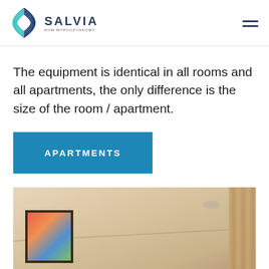SALVIA
The equipment is identical in all rooms and all apartments, the only difference is the size of the room / apartment.
APARTMENTS
[Figure (photo): Interior photo of a hotel room showing ceiling with recessed light, a colorful framed painting on the wall, and curtains on the right side.]